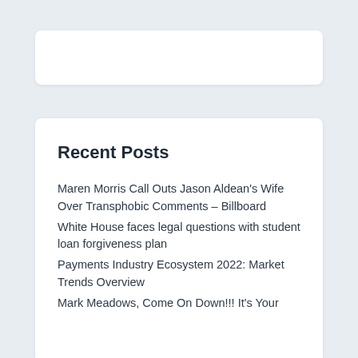Recent Posts
Maren Morris Call Outs Jason Aldean's Wife Over Transphobic Comments – Billboard
White House faces legal questions with student loan forgiveness plan
Payments Industry Ecosystem 2022: Market Trends Overview
Mark Meadows, Come On Down!!! It's Your